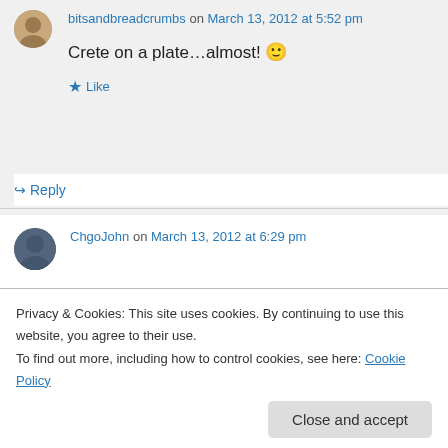bitsandbreadcrumbs on March 13, 2012 at 5:52 pm
Crete on a plate…almost! 🙂
★ Like
↪ Reply
ChgoJohn on March 13, 2012 at 6:29 pm
What a great post, Betsy! I've eaten enough Greek food to know that marinade. With so few
year to remember!
Privacy & Cookies: This site uses cookies. By continuing to use this website, you agree to their use. To find out more, including how to control cookies, see here: Cookie Policy
Close and accept